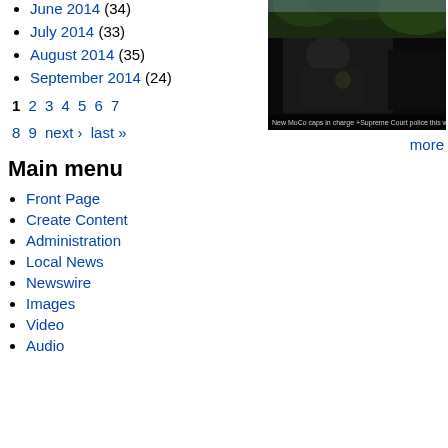June 2014 (34)
July 2014 (33)
August 2014 (35)
September 2014 (24)
1 2 3 4 5 6 7 8 9 next › last »
[Figure (screenshot): Video thumbnail showing a police officer outdoors with a play button overlay and caption text: New MoCo caps in charge +Supreme Court police this week]
more
Main menu
Front Page
Create Content
Administration
Local News
Newswire
Images
Video
Audio